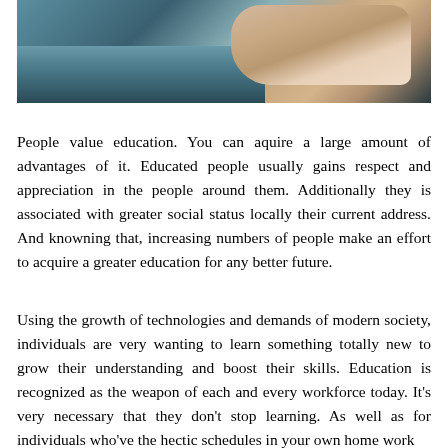[Figure (photo): A person's hands writing or studying at a desk with books and a calculator visible, taken from above at an angle.]
People value education. You can aquire a large amount of advantages of it. Educated people usually gains respect and appreciation in the people around them. Additionally they is associated with greater social status locally their current address. And knowning that, increasing numbers of people make an effort to acquire a greater education for any better future.
Using the growth of technologies and demands of modern society, individuals are very wanting to learn something totally new to grow their understanding and boost their skills. Education is recognized as the weapon of each and every workforce today. It's very necessary that they don't stop learning. As well as for individuals who've the hectic schedules in your own home work